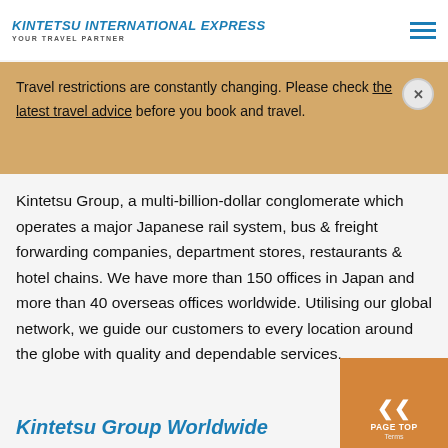KINTETSU INTERNATIONAL EXPRESS - YOUR TRAVEL PARTNER
Cairns, Gold Coast and Adelaide handling Japanese inbound tours. We are also an authorised travel agent to sell Japan Rail Pass and Kintetsu Rail Pass in Australia
Travel restrictions are constantly changing. Please check the latest travel advice before you book and travel.
Kintetsu Group, a multi-billion-dollar conglomerate which operates a major Japanese rail system, bus & freight forwarding companies, department stores, restaurants & hotel chains. We have more than 150 offices in Japan and more than 40 overseas offices worldwide. Utilising our global network, we guide our customers to every location around the globe with quality and dependable services.
Kintetsu Group Worldwide